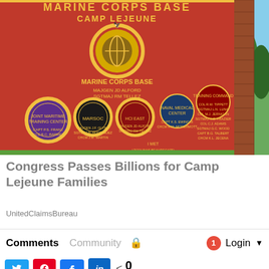[Figure (photo): Photograph of the Marine Corps Base Camp Lejeune entrance sign — a large red sign featuring multiple military unit seals and listing commanders including MajGen JD Alford, SgtMaj RM Tellez, and various subordinate commands including MARSOC, Naval Medical Center, Training Command, Joint Maritime Training Center, HCI East, and IMET.]
Congress Passes Billions for Camp Lejeune Families
UnitedClaimsBureau
Comments   Community   🔒   1   Login
Twitter  Pinterest  Facebook  LinkedIn  < 0 SHARES